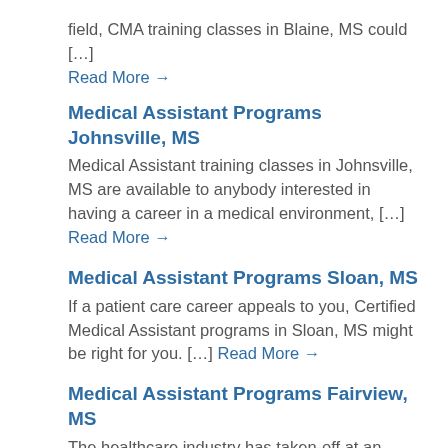field, CMA training classes in Blaine, MS could […]
Read More →
Medical Assistant Programs Johnsville, MS
Medical Assistant training classes in Johnsville, MS are available to anybody interested in having a career in a medical environment, […] Read More →
Medical Assistant Programs Sloan, MS
If a patient care career appeals to you, Certified Medical Assistant programs in Sloan, MS might be right for you. […] Read More →
Medical Assistant Programs Fairview, MS
The healthcare industry has taken-off at an impressive rate and, by signing up for CMA training classes in Fairview, MS, […] Read More →
Medical Assistant Programs Pleasant Grove, MS
For those serious about starting a career in patient